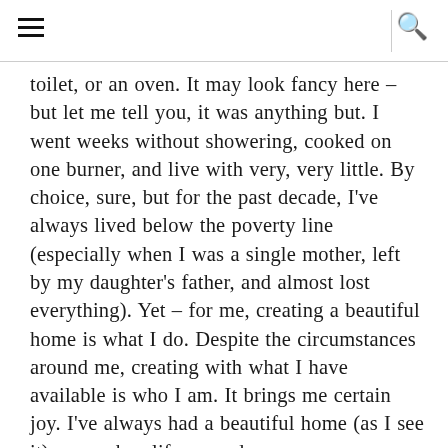≡  🔍
toilet, or an oven. It may look fancy here – but let me tell you, it was anything but. I went weeks without showering, cooked on one burner, and live with very, very little. By choice, sure, but for the past decade, I've always lived below the poverty line (especially when I was a single mother, left by my daughter's father, and almost lost everything). Yet – for me, creating a beautiful home is what I do. Despite the circumstances around me, creating with what I have available is who I am. It brings me certain joy. I've always had a beautiful home (as I see it) even when life around me was